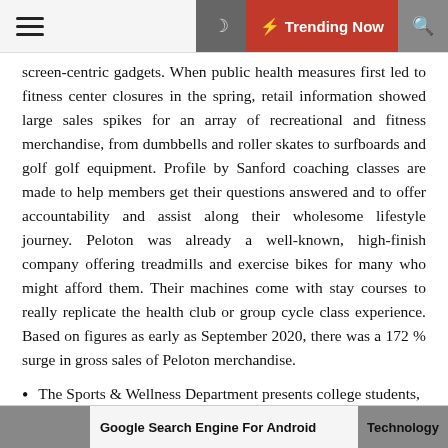☰  ☾  ⚡ Trending Now  🔍
screen-centric gadgets. When public health measures first led to fitness center closures in the spring, retail information showed large sales spikes for an array of recreational and fitness merchandise, from dumbbells and roller skates to surfboards and golf golf equipment. Profile by Sanford coaching classes are made to help members get their questions answered and to offer accountability and assist along their wholesome lifestyle journey. Peloton was already a well-known, high-finish company offering treadmills and exercise bikes for many who might afford them. Their machines come with stay courses to really replicate the health club or group cycle class experience. Based on figures as early as September 2020, there was a 172 % surge in gross sales of Peloton merchandise.
The Sports & Wellness Department presents college students, college, and workers many opportunities
Google Search Engine For Android    Technology